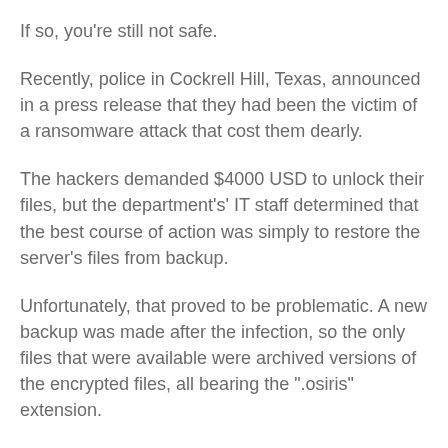If so, you're still not safe.
Recently, police in Cockrell Hill, Texas, announced in a press release that they had been the victim of a ransomware attack that cost them dearly.
The hackers demanded $4000 USD to unlock their files, but the department's' IT staff determined that the best course of action was simply to restore the server's files from backup.
Unfortunately, that proved to be problematic. A new backup was made after the infection, so the only files that were available were archived versions of the encrypted files, all bearing the ".osiris" extension.
The end result was that the department lost literally years' worth of video footage and photographic